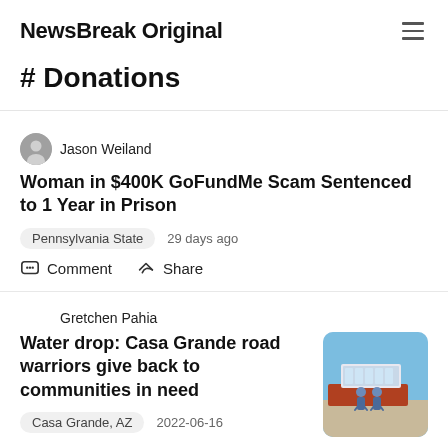NewsBreak Original
# Donations
Jason Weiland
Woman in $400K GoFundMe Scam Sentenced to 1 Year in Prison
Pennsylvania State   29 days ago
Comment   Share
Gretchen Pahia
Water drop: Casa Grande road warriors give back to communities in need
[Figure (photo): Two people standing in front of a truck loaded with pallets of water bottles under a blue sky]
Casa Grande, AZ   2022-06-16